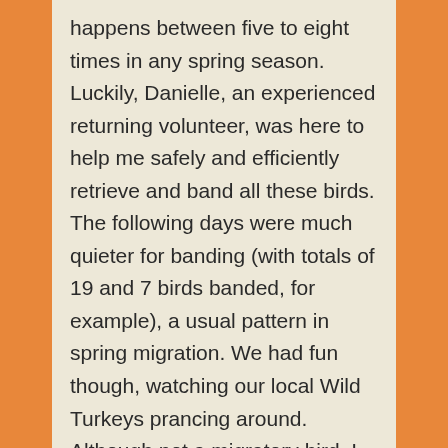happens between five to eight times in any spring season. Luckily, Danielle, an experienced returning volunteer, was here to help me safely and efficiently retrieve and band all these birds. The following days were much quieter for banding (with totals of 19 and 7 birds banded, for example), a usual pattern in spring migration. We had fun though, watching our local Wild Turkeys prancing around. Although not a migratory bird, I enjoy watching them nonetheless: the iridescence of their feathers is simply magnificent, bringing glitters of copper and bronze in the black and brown plumage.
On April 23, yelling gulls at the rocky point attracted our attention. A Snowy Owl was being dive-bombed by the gulls! The owl was sitting at